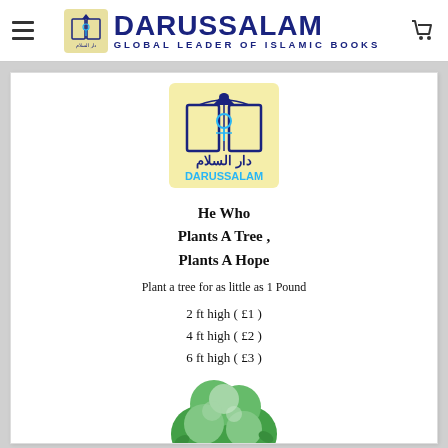DARUSSALAM — GLOBAL LEADER OF ISLAMIC BOOKS
[Figure (logo): Darussalam logo: yellow background square with open book and minaret icon in dark blue, Arabic text 'دار السلام', and blue 'DARUSSALAM' text beneath]
He Who
Plants A Tree ,
Plants A Hope
Plant a tree for as little as 1 Pound
2 ft high (£1)
4 ft high (£2)
6 ft high (£3)
[Figure (illustration): Cartoon illustration of a green leafy tree with brown trunk]